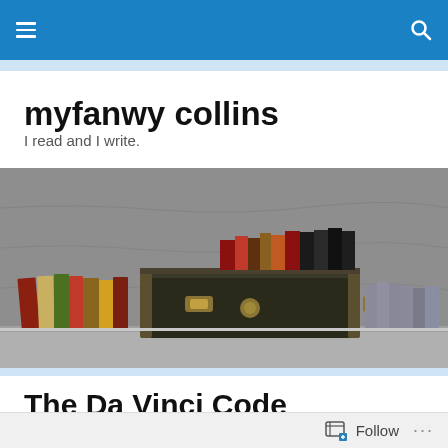myfanwy collins blog navigation bar
myfanwy collins
I read and I write.
[Figure (photo): A vintage dark trunk/chest surrounded by stacks of books on a shelf, with grey textured wallpaper background.]
The Da Vinci Code
Follow ...